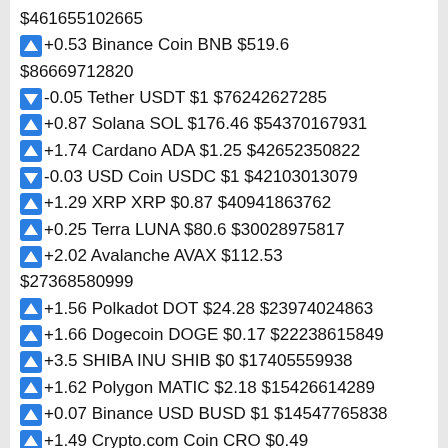$461655102665
+0.53 Binance Coin BNB $519.6
$86669712820
-0.05 Tether USDT $1 $76242627285
+0.87 Solana SOL $176.46 $54370167931
+1.74 Cardano ADA $1.25 $42652350822
-0.03 USD Coin USDC $1 $42103013079
+1.29 XRP XRP $0.87 $40941863762
+0.25 Terra LUNA $80.6 $30028975817
+2.02 Avalanche AVAX $112.53
$27368580999
+1.56 Polkadot DOT $24.28 $23974024863
+1.66 Dogecoin DOGE $0.17 $22238615849
+3.5 SHIBA INU SHIB $0 $17405559938
+1.62 Polygon MATIC $2.18 $15426614289
+0.07 Binance USD BUSD $1 $14547765838
+1.49 Crypto.com Coin CRO $0.49
$12501591571